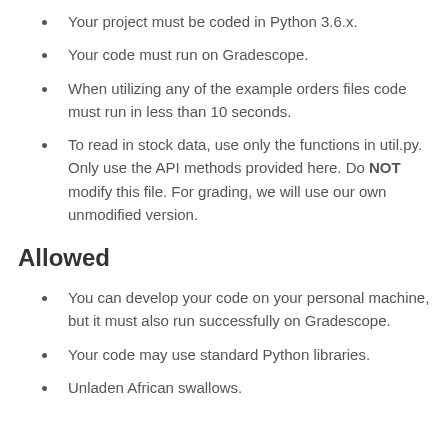Your project must be coded in Python 3.6.x.
Your code must run on Gradescope.
When utilizing any of the example orders files code must run in less than 10 seconds.
To read in stock data, use only the functions in util.py. Only use the API methods provided here. Do NOT modify this file. For grading, we will use our own unmodified version.
Allowed
You can develop your code on your personal machine, but it must also run successfully on Gradescope.
Your code may use standard Python libraries.
Unladen African swallows.